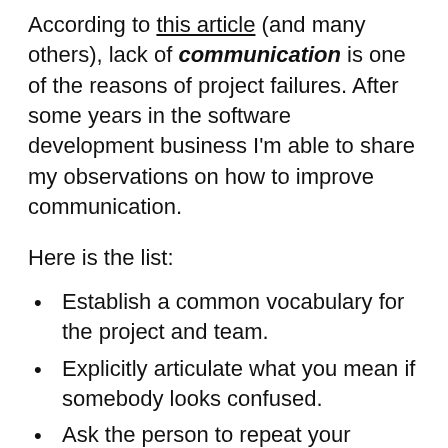According to this article (and many others), lack of communication is one of the reasons of project failures. After some years in the software development business I'm able to share my observations on how to improve communication.
Here is the list:
Establish a common vocabulary for the project and team.
Explicitly articulate what you mean if somebody looks confused.
Ask the person to repeat your sentence in his words when something is unclear.